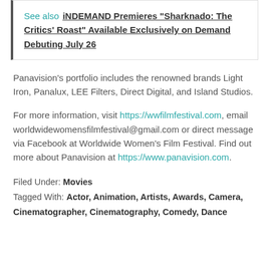See also  iNDEMAND Premieres “Sharknado: The Critics’ Roast” Available Exclusively on Demand Debuting July 26
Panavision’s portfolio includes the renowned brands Light Iron, Panalux, LEE Filters, Direct Digital, and Island Studios.
For more information, visit https://wwfilmfestival.com, email worldwidewomensfilmfestival@gmail.com or direct message via Facebook at Worldwide Women’s Film Festival. Find out more about Panavision at https://www.panavision.com.
Filed Under: Movies
Tagged With: Actor, Animation, Artists, Awards, Camera, Cinematographer, Cinematography, Comedy, Dance